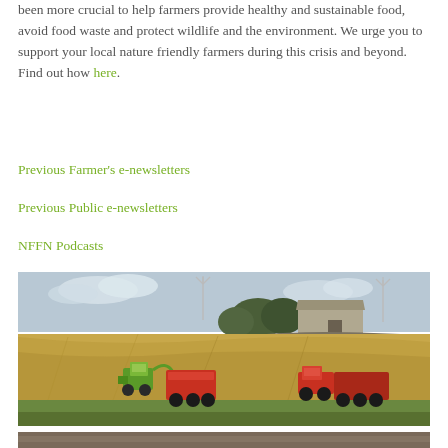been more crucial to help farmers provide healthy and sustainable food, avoid food waste and protect wildlife and the environment. We urge you to support your local nature friendly farmers during this crisis and beyond. Find out how here.
Previous Farmer's e-newsletters
Previous Public e-newsletters
NFFN Podcasts
[Figure (photo): Aerial view of farmland with harvesting machinery - a green and red forage harvester and red trailer tractor working in a golden grain field, with a stone barn, hedgerows, trees and wind turbines in the background.]
[Figure (photo): Partial view of another farm photo at the bottom of the page.]